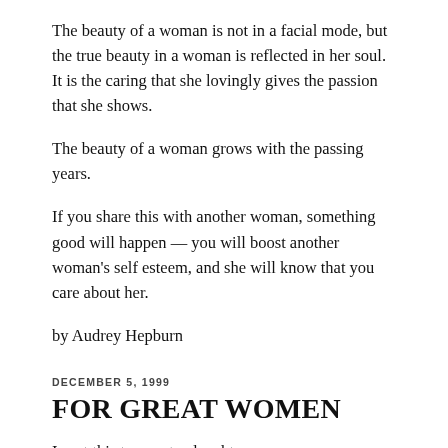The beauty of a woman is not in a facial mode, but the true beauty in a woman is reflected in her soul. It is the caring that she lovingly gives the passion that she shows.
The beauty of a woman grows with the passing years.
If you share this with another woman, something good will happen — you will boost another woman's self esteem, and she will know that you care about her.
by Audrey Hepburn
DECEMBER 5, 1999
FOR GREAT WOMEN
I sent this to my stepdaughter: